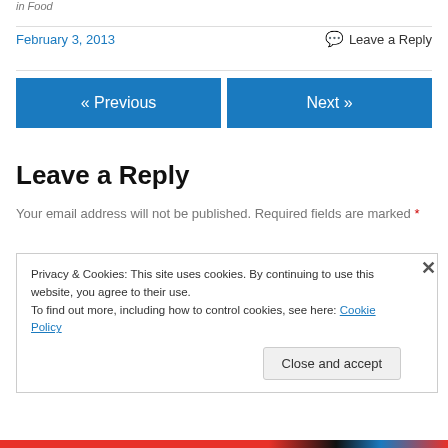in Food
February 3, 2013
Leave a Reply
« Previous
Next »
Leave a Reply
Your email address will not be published. Required fields are marked *
Privacy & Cookies: This site uses cookies. By continuing to use this website, you agree to their use.
To find out more, including how to control cookies, see here: Cookie Policy
Close and accept